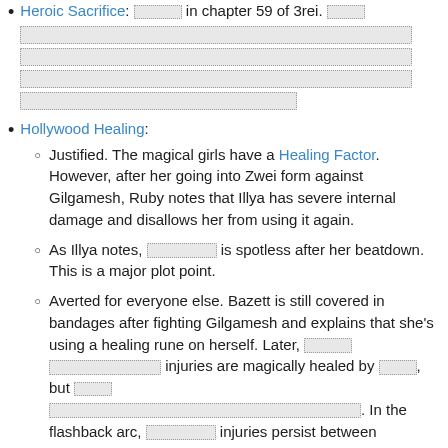Heroic Sacrifice: [redacted] in chapter 59 of 3rei. [redacted lines]
Hollywood Healing:
Justified. The magical girls have a Healing Factor. However, after her going into Zwei form against Gilgamesh, Ruby notes that Illya has severe internal damage and disallows her from using it again.
As Illya notes, [redacted] is spotless after her beatdown. This is a major plot point.
Averted for everyone else. Bazett is still covered in bandages after fighting Gilgamesh and explains that she's using a healing rune on herself. Later, [redacted] injuries are magically healed by [redacted], but [redacted]. In the flashback arc, [redacted] injuries persist between